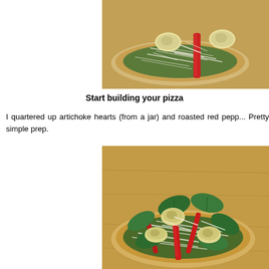[Figure (photo): Close-up of an unbaked flatbread pizza with pesto sauce, shredded mozzarella cheese, artichoke hearts, and a strip of roasted red pepper on a wooden cutting board.]
Start building your pizza
I quartered up artichoke hearts (from a jar) and roasted red pepp... Pretty simple prep.
[Figure (photo): Flatbread pizza topped with shredded mozzarella, roasted red pepper strips, quartered artichoke hearts, and fresh spinach or basil leaves on a wooden cutting board.]